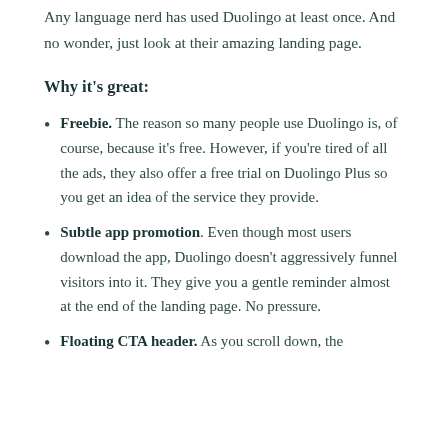Any language nerd has used Duolingo at least once. And no wonder, just look at their amazing landing page.
Why it's great:
Freebie. The reason so many people use Duolingo is, of course, because it's free. However, if you're tired of all the ads, they also offer a free trial on Duolingo Plus so you get an idea of the service they provide.
Subtle app promotion. Even though most users download the app, Duolingo doesn't aggressively funnel visitors into it. They give you a gentle reminder almost at the end of the landing page. No pressure.
Floating CTA header. As you scroll down, the